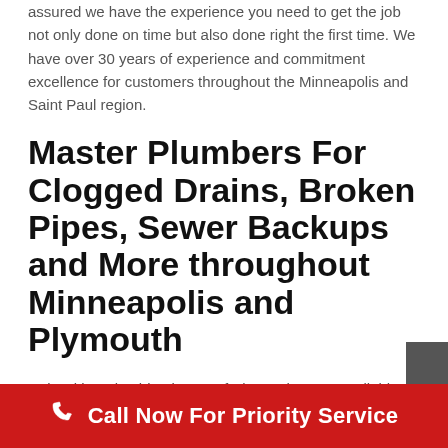assured we have the experience you need to get the job not only done on time but also done right the first time. We have over 30 years of experience and commitment excellence for customers throughout the Minneapolis and Saint Paul region.
Master Plumbers For Clogged Drains, Broken Pipes, Sewer Backups and More throughout Minneapolis and Plymouth
Twin Cities Plumbing is one of Plymouth 's most reliable and affordable plumbing services. We would love to serve you and earn your lifetime business for all of your plumbing needs. From Major plumbing disasters to minor plumbing repairs, Twin Cities Plumbing will service your plumbing...
Call Now For Priority Service